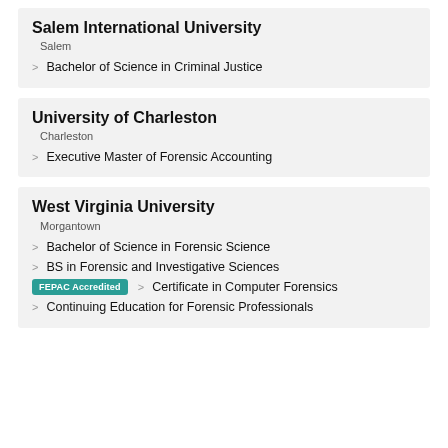Salem International University
Salem
Bachelor of Science in Criminal Justice
University of Charleston
Charleston
Executive Master of Forensic Accounting
West Virginia University
Morgantown
Bachelor of Science in Forensic Science
BS in Forensic and Investigative Sciences
Certificate in Computer Forensics
Continuing Education for Forensic Professionals